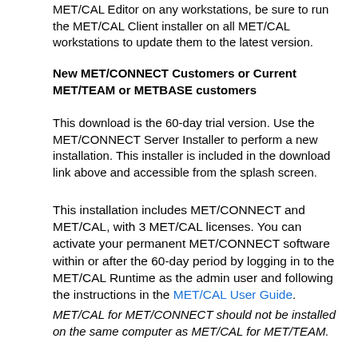MET/CAL Editor on any workstations, be sure to run the MET/CAL Client installer on all MET/CAL workstations to update them to the latest version.
New MET/CONNECT Customers or Current MET/TEAM or METBASE customers
This download is the 60-day trial version. Use the MET/CONNECT Server Installer to perform a new installation. This installer is included in the download link above and accessible from the splash screen.
This installation includes MET/CONNECT and MET/CAL, with 3 MET/CAL licenses. You can activate your permanent MET/CONNECT software within or after the 60-day period by logging in to the MET/CAL Runtime as the admin user and following the instructions in the MET/CAL User Guide.
MET/CAL for MET/CONNECT should not be installed on the same computer as MET/CAL for MET/TEAM.
Special Instructions
Click on "View" or "Link" to go to the download page.
MD5 Check Sum: